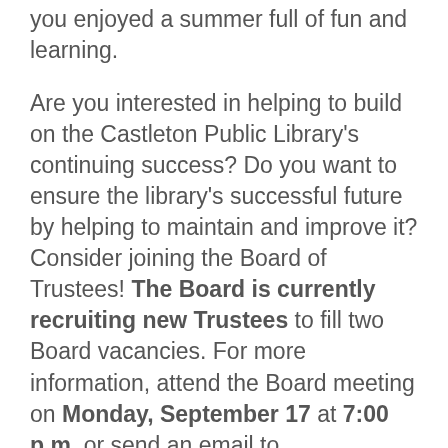you enjoyed a summer full of fun and learning.
Are you interested in helping to build on the Castleton Public Library's continuing success? Do you want to ensure the library's successful future by helping to maintain and improve it? Consider joining the Board of Trustees! The Board is currently recruiting new Trustees to fill two Board vacancies. For more information, attend the Board meeting on Monday, September 17 at 7:00 p.m. or send an email to director@castletonpubliclibrary.org.
From September 1 through November 30, we're proud to be part of the Upper Hudson Library System's Library Expedition! The goal of the Expedition is to encourage people to visit all 36 of the public library branches in